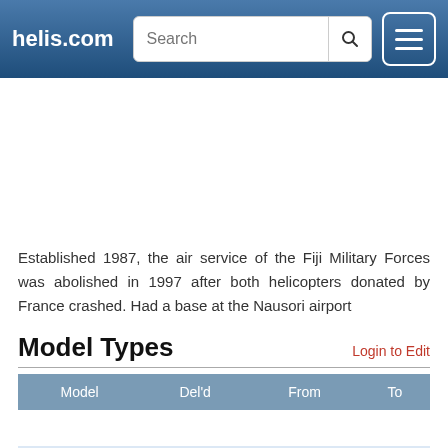helis.com
Established 1987, the air service of the Fiji Military Forces was abolished in 1997 after both helicopters donated by France crashed. Had a base at the Nausori airport
Model Types
| Model | Del'd | From | To |
| --- | --- | --- | --- |